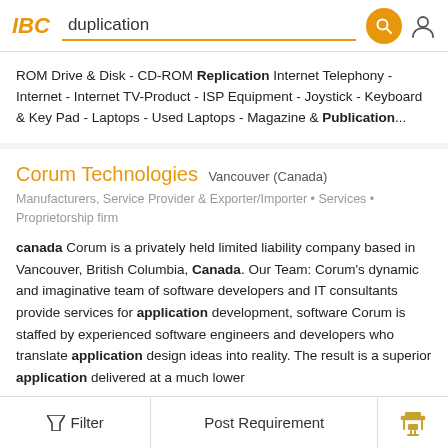IBC  duplication
ROM Drive & Disk - CD-ROM Replication Internet Telephony - Internet - Internet TV-Product - ISP Equipment - Joystick - Keyboard & Key Pad - Laptops - Used Laptops - Magazine & Publication...
Corum Technologies  Vancouver (Canada)
Manufacturers, Service Provider & Exporter/Importer • Services • Proprietorship firm
canada Corum is a privately held limited liability company based in Vancouver, British Columbia, Canada. Our Team: Corum's dynamic and imaginative team of software developers and IT consultants provide services for application development, software Corum is staffed by experienced software engineers and developers who translate application design ideas into reality. The result is a superior application delivered at a much lower
Filter  Post Requirement